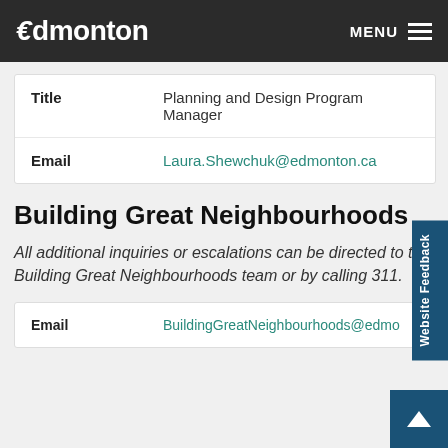Edmonton — MENU
| Field | Value |
| --- | --- |
| Title | Planning and Design Program Manager |
| Email | Laura.Shewchuk@edmonton.ca |
Building Great Neighbourhoods
All additional inquiries or escalations can be directed to the Building Great Neighbourhoods team or by calling 311.
| Field | Value |
| --- | --- |
| Email | BuildingGreatNeighbourhoods@edmon... |